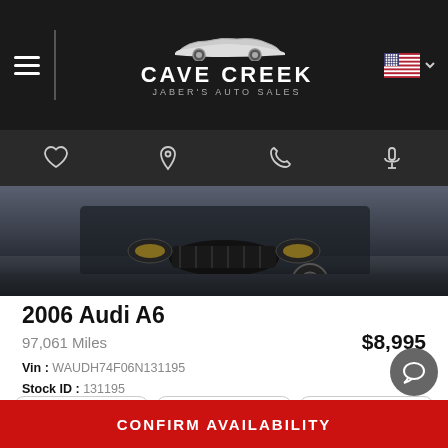[Figure (screenshot): Cave Creek Jaber's Auto Sales website header with logo, hamburger menu, US flag, and navigation icons (heart, location pin, phone, microphone)]
[Figure (photo): Front close-up photo of a dark-colored Audi A6 showing the grille and headlights]
2006 Audi A6
97,061 Miles  $8,995
Vin : WAUDH74F06N131195
Stock ID : 131195
Ext color : Blue
Int color : Gray
Transmission : Automatic
Engine: 3.2L 255.0hp
Call  Text  Detail
CONFIRM AVAILABILITY